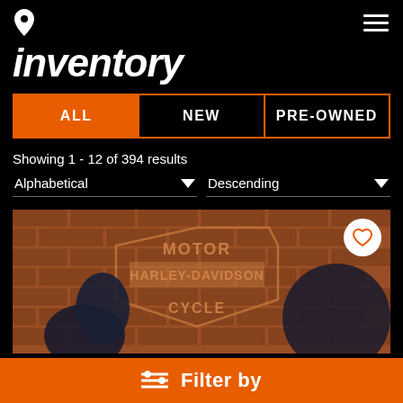inventory
ALL
NEW
PRE-OWNED
Showing 1 - 12 of 394 results
Alphabetical
Descending
[Figure (photo): Harley-Davidson motorcycle in front of a brick wall with Motor Harley-Davidson Cycle logo]
Filter by